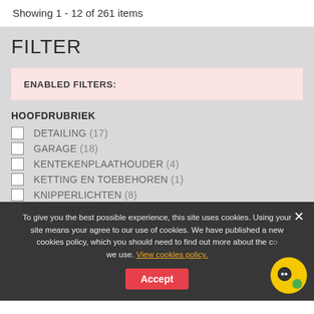Showing 1 - 12 of 261 items
FILTER
ENABLED FILTERS:
HOOFDRUBRIEK
DETAILING (17)
GARAGE (18)
KENTEKENPLAATHOUDER (4)
KETTING EN TOEBEHOREN (1)
KNIPPERLICHTEN (8)
KUIPDELEN (8)
To give you the best possible experience, this site uses cookies. Using your site means your agree to our use of cookies. We have published a new cookies policy, which you should need to find out more about the cookies we use. View cookies policy. Accept